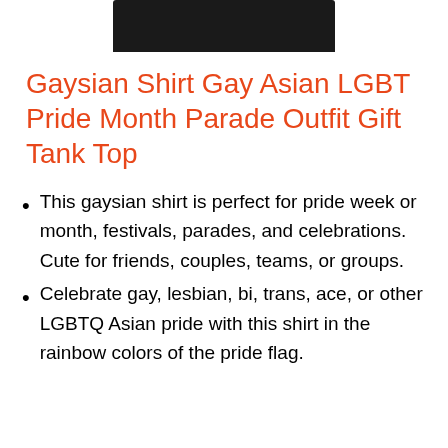[Figure (photo): Bottom portion of a black tank top shirt on a white background]
Gaysian Shirt Gay Asian LGBT Pride Month Parade Outfit Gift Tank Top
This gaysian shirt is perfect for pride week or month, festivals, parades, and celebrations. Cute for friends, couples, teams, or groups.
Celebrate gay, lesbian, bi, trans, ace, or other LGBTQ Asian pride with this shirt in the rainbow colors of the pride flag.